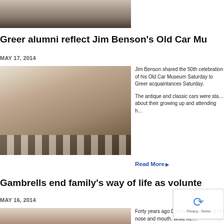[Figure (photo): Top cropped photo showing feet/shoes of people on a light floor]
Greer alumni reflect Jim Benson's Old Car Mu…
MAY 17, 2014
[Figure (photo): People gathered inside Jim Benson's Old Car Museum with checkerboard floor, vintage decor, and food tables]
Jim Benson shared the 50th celebration of his Old Car Museum Saturday to Greer acquaintances Saturday.

The antique and classic cars were sta… about their growing up and attending h…
Read More ▶
Gambrells end family's way of life as volunte…
MAY 16, 2014
[Figure (photo): Photo of people at bottom of page, partially cropped]
Forty years ago Danny G… covering his nose and mouth, while he…